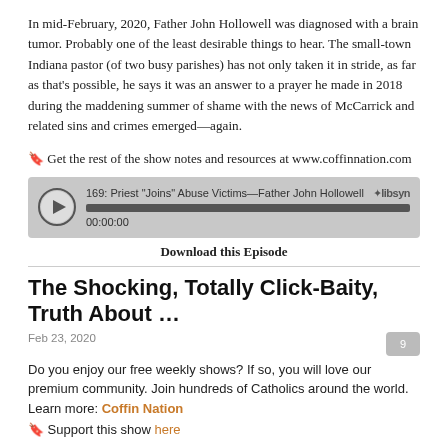In mid-February, 2020, Father John Hollowell was diagnosed with a brain tumor. Probably one of the least desirable things to hear. The small-town Indiana pastor (of two busy parishes) has not only taken it in stride, as far as that's possible, he says it was an answer to a prayer he made in 2018 during the maddening summer of shame with the news of McCarrick and related sins and crimes emerged—again.
🔖 Get the rest of the show notes and resources at www.coffinnation.com
[Figure (other): Audio player widget: title '169: Priest "Joins" Abuse Victims—Father John Hollowell', progress bar, timestamp 00:00:00, Libsyn logo]
Download this Episode
The Shocking, Totally Click-Baity, Truth About …
Feb 23, 2020
Do you enjoy our free weekly shows? If so, you will love our premium community. Join hundreds of Catholics around the world. Learn more: Coffin Nation
🔖 Support this show here